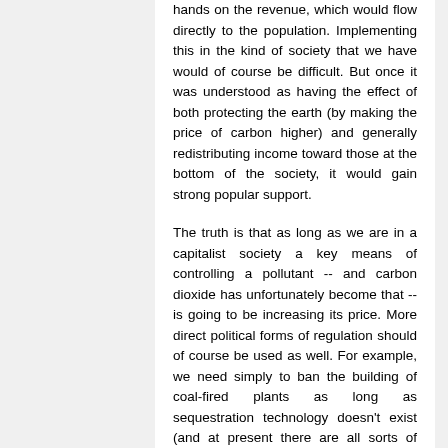hands on the revenue, which would flow directly to the population. Implementing this in the kind of society that we have would of course be difficult. But once it was understood as having the effect of both protecting the earth (by making the price of carbon higher) and generally redistributing income toward those at the bottom of the society, it would gain strong popular support.
The truth is that as long as we are in a capitalist society a key means of controlling a pollutant -- and carbon dioxide has unfortunately become that -- is going to be increasing its price. More direct political forms of regulation should of course be used as well. For example, we need simply to ban the building of coal-fired plants as long as sequestration technology doesn't exist (and at present there are all sorts of obstacles), and existing coal-fired plants need to be